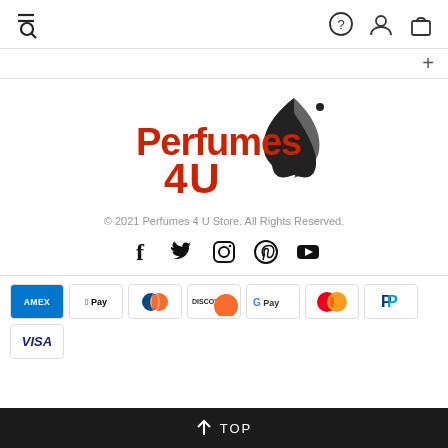Navigation bar with hamburger/search icon, help, account, and bag icons
[Figure (logo): Perfumes 4U logo with red text and stylized black drop/flame mark]
© 2021 Perfumes 4 U Store. All Rights Reserved.
[Figure (infographic): Social media icons: Facebook, Twitter, Instagram, Pinterest, YouTube]
[Figure (infographic): Payment method icons: Amex, Apple Pay, Diners Club, Discover, Google Pay, Mastercard, PayPal, Visa]
↑ TOP